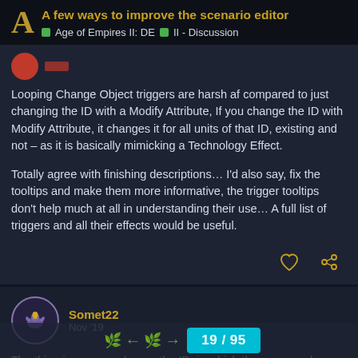A few ways to improve the scenario editor | Age of Empires II: DE | II - Discussion
Looping Change Object triggers are harsh af compared to just changing the ID with a Modify Attribute, If you change the ID with Modify Attribute, it changes it for all units of that ID, existing and not – as it is basically mimicking a Technology Effect.

Totally agree with finishing descriptions… I'd also say, fix the tooltips and make them more informative, the trigger tooltips don't help much at all in understanding their use… A full list of triggers and all their effects would be useful.
Somet22  Nov '19
The thing is you can change the ID, in which the name and description is pulled from in S... jumble text and etc, so being...